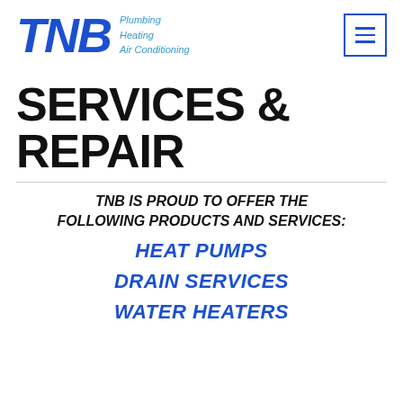[Figure (logo): TNB company logo in bold blue italic letters, with tagline 'Plumbing Heating Air Conditioning' in light blue italic text to the right]
[Figure (other): Hamburger menu button — three horizontal lines inside a blue-bordered square]
SERVICES & REPAIR
TNB IS PROUD TO OFFER THE FOLLOWING PRODUCTS AND SERVICES:
HEAT PUMPS
DRAIN SERVICES
WATER HEATERS